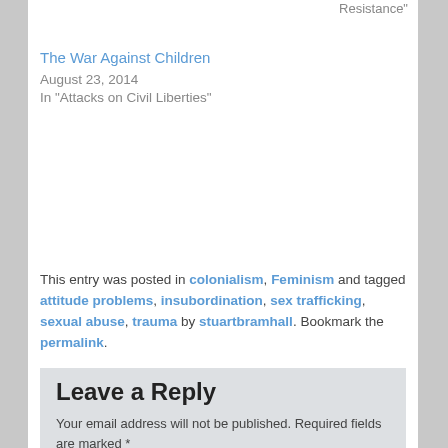Resistance"
The War Against Children
August 23, 2014
In "Attacks on Civil Liberties"
This entry was posted in colonialism, Feminism and tagged attitude problems, insubordination, sex trafficking, sexual abuse, trauma by stuartbramhall. Bookmark the permalink.
Leave a Reply
Your email address will not be published. Required fields are marked *
Comment *